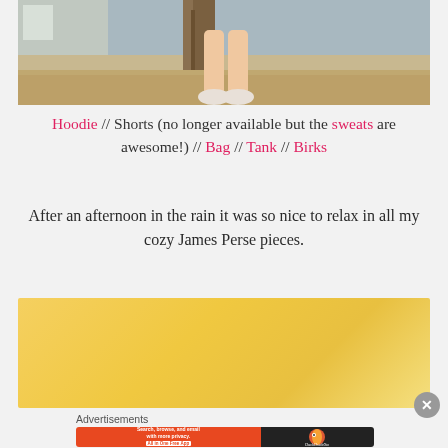[Figure (photo): Outdoor photo showing a person's legs and shoes standing near a tree, with a house and dry ground in the background.]
Hoodie // Shorts (no longer available but the sweats are awesome!) // Bag // Tank // Birks
After an afternoon in the rain it was so nice to relax in all my cozy James Perse pieces.
[Figure (other): Yellow/gold gradient advertisement banner.]
Advertisements
[Figure (other): DuckDuckGo advertisement: Search, browse, and email with more privacy. All in One Free App.]